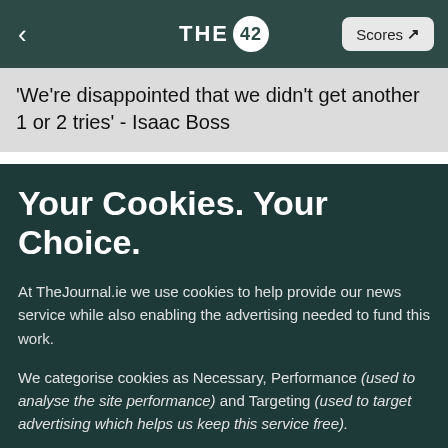THE 42 | Scores
'We're disappointed that we didn't get another 1 or 2 tries' - Isaac Boss
Your Cookies. Your Choice.
At TheJournal.ie we use cookies to help provide our news service while also enabling the advertising needed to fund this work.
We categorise cookies as Necessary, Performance (used to analyse the site performance) and Targeting (used to target advertising which helps us keep this service free).
You can choose to 'accept all' cookies below or to only opt in to what you are happy to accept using 'manage cookies'. You can also change your cookie settings at any